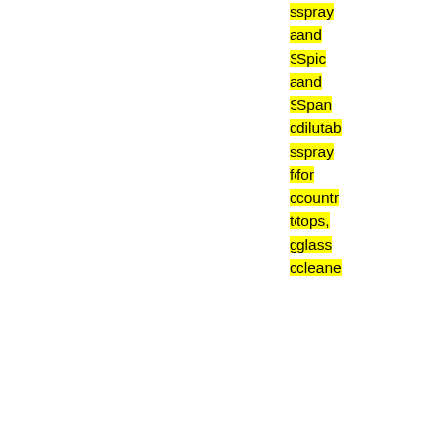spray and Spic and Span dilutable spray for countertops, glass cleaner
On August 1, 2013, Prestige Brands Holdings (PBH) announced 1st quarter 2014 results. Adjusted revenue for the